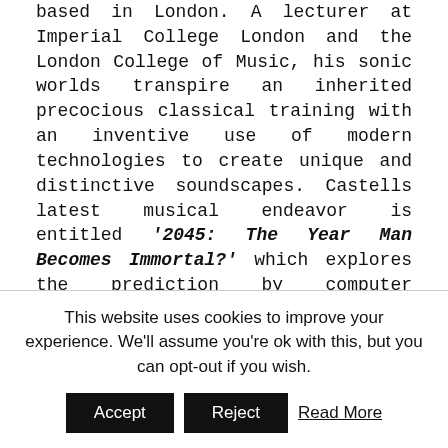based in London. A lecturer at Imperial College London and the London College of Music, his sonic worlds transpire an inherited precocious classical training with an inventive use of modern technologies to create unique and distinctive soundscapes. Castells latest musical endeavor is entitled '2045: The Year Man Becomes Immortal?' which explores the prediction by computer engineer and futurologist Ray Kurzweil that the year 2045 will see the start of a new era in which human and artificial intelligence will merge, man will cease to age and so acquire the
This website uses cookies to improve your experience. We'll assume you're ok with this, but you can opt-out if you wish.